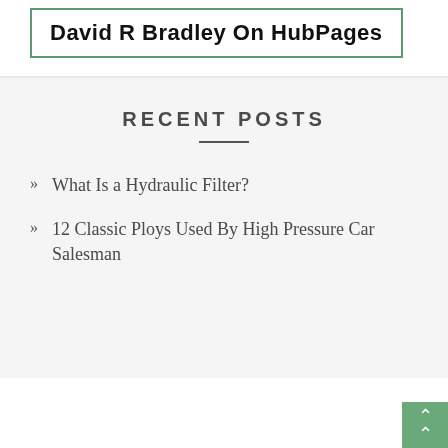David R Bradley On HubPages
RECENT POSTS
What Is a Hydraulic Filter?
12 Classic Ploys Used By High Pressure Car Salesman